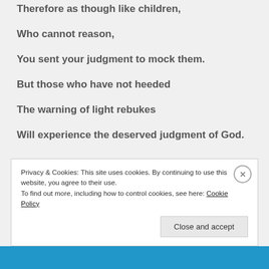Therefore as though like children,
Who cannot reason,
You sent your judgment to mock them.
But those who have not heeded
The warning of light rebukes
Will experience the deserved judgment of God.
Privacy & Cookies: This site uses cookies. By continuing to use this website, you agree to their use.
To find out more, including how to control cookies, see here: Cookie Policy
Close and accept